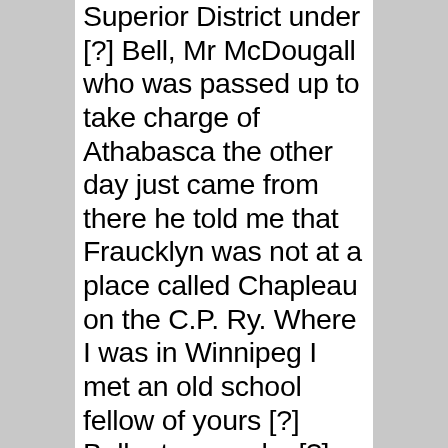Superior District under [?] Bell, Mr McDougall who was passed up to take charge of Athabasca the other day just came from there he told me that Fraucklyn was not at a place called Chapleau on the C.P. Ry. Where I was in Winnipeg I met an old school fellow of yours [?] Ballantyne and a [?] good fellow he is too. We have had a very hard winter every one sick the the measles, it has take off between